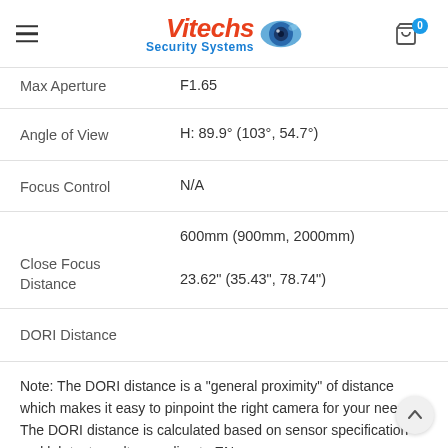Vitechs Security Systems
| Specification | Value |
| --- | --- |
| Max Aperture | F1.65 |
| Angle of View | H: 89.9° (103°, 54.7°) |
| Focus Control | N/A |
| Close Focus Distance | 600mm (900mm, 2000mm)
23.62" (35.43", 78.74") |
| DORI Distance |  |
Note: The DORI distance is a "general proximity" of distance which makes it easy to pinpoint the right camera for your needs. The DORI distance is calculated based on sensor specification and lab test result according to EN